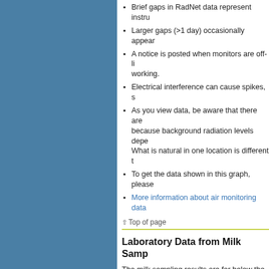Brief gaps in RadNet data represent instru
Larger gaps (>1 day) occasionally appear
A notice is posted when monitors are off-line working.
Electrical interference can cause spikes, s
As you view data, be aware that there are because background radiation levels depe What is natural in one location is different t
To get the data shown in this graph, please
More information about air monitoring data
⇧ Top of page
Laboratory Data from Milk Samp
The milk sampling results are far below the Foo findings are to be expected in the coming days has a very short half-life of approximately eight quickly.
About milk laboratory data